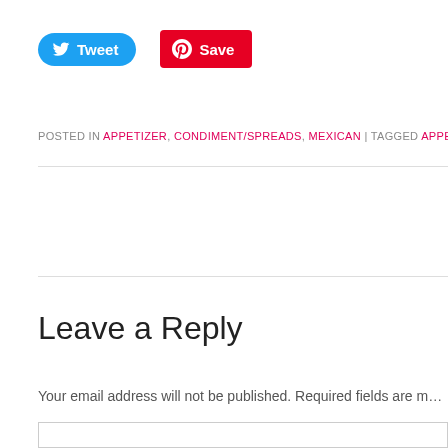[Figure (other): Tweet button (Twitter/X blue rounded button) and Save button (Pinterest red button)]
POSTED IN APPETIZER, CONDIMENT/SPREADS, MEXICAN | TAGGED APPETIZE…
Leave a Reply
Your email address will not be published. Required fields are m…